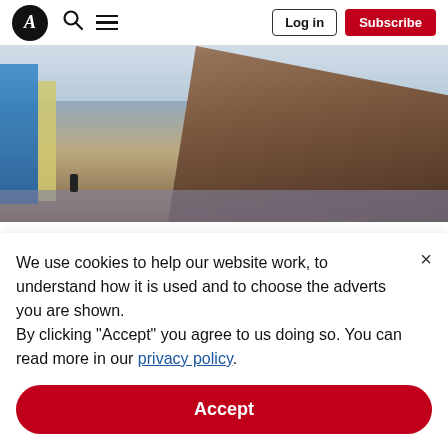A [logo] — Log in — Subscribe
[Figure (photo): Exterior street-level photo of Tate Modern's Blavatnik Building (Switch House), a tall angular brick tower on the South Bank, London, with street and pedestrians in foreground.]
Why has Tate consigned painting to history?
Painting isn't dead, but it has been prematurely buried in Tate Modern's Boiler House
We use cookies to help our website work, to understand how it is used and to choose the adverts you are shown. By clicking "Accept" you agree to us doing so. You can read more in our privacy policy.
Accept